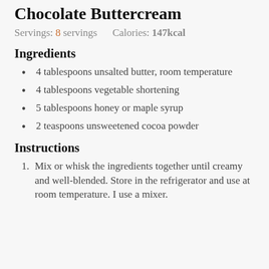Chocolate Buttercream
Servings: 8 servings    Calories: 147kcal
Ingredients
4 tablespoons unsalted butter, room temperature
4 tablespoons vegetable shortening
5 tablespoons honey or maple syrup
2 teaspoons unsweetened cocoa powder
Instructions
Mix or whisk the ingredients together until creamy and well-blended. Store in the refrigerator and use at room temperature. I use a mixer.